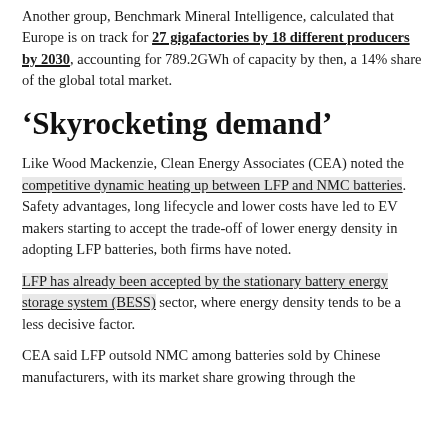Another group, Benchmark Mineral Intelligence, calculated that Europe is on track for 27 gigafactories by 18 different producers by 2030, accounting for 789.2GWh of capacity by then, a 14% share of the global total market.
'Skyrocketing demand'
Like Wood Mackenzie, Clean Energy Associates (CEA) noted the competitive dynamic heating up between LFP and NMC batteries. Safety advantages, long lifecycle and lower costs have led to EV makers starting to accept the trade-off of lower energy density in adopting LFP batteries, both firms have noted.
LFP has already been accepted by the stationary battery energy storage system (BESS) sector, where energy density tends to be a less decisive factor.
CEA said LFP outsold NMC among batteries sold by Chinese manufacturers, with its market share growing through the